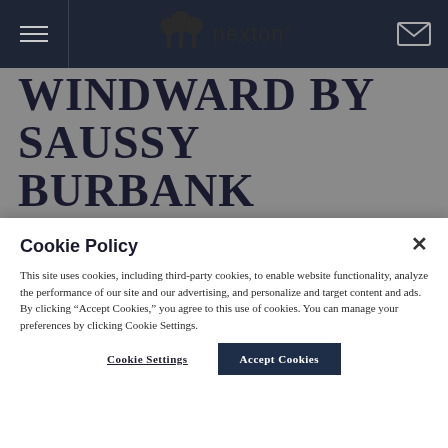[Figure (screenshot): Nexton website header with dark navy navigation bar containing hamburger menu icon on left, Nexton logo with tree icons in center, and email envelope icon on right]
WINDWARD BY SAUSSY BURBANK
Cookie Policy
This site uses cookies, including third-party cookies, to enable website functionality, analyze the performance of our site and our advertising, and personalize and target content and ads. By clicking “Accept Cookies,” you agree to this use of cookies. You can manage your preferences by clicking Cookie Settings.
Cookie Settings
Accept Cookies